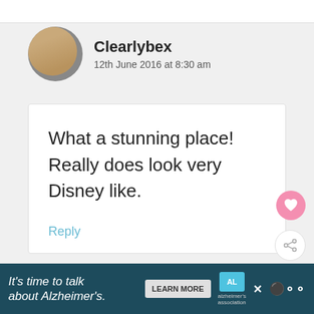[Figure (photo): Profile avatar of Clearlybex — circular photo of a woman with blonde hair and glasses]
Clearlybex
12th June 2016 at 8:30 am
What a stunning place! Really does look very Disney like.
Reply
[Figure (photo): Thumbnail image for 'What's Next' — My Sunday Photo, The...]
WHAT'S NEXT → My Sunday Photo, The...
[Figure (photo): Profile avatar of SarahJChristie — circular photo of a woman]
SarahJChristie
It's time to talk about Alzheimer's. LEARN MORE